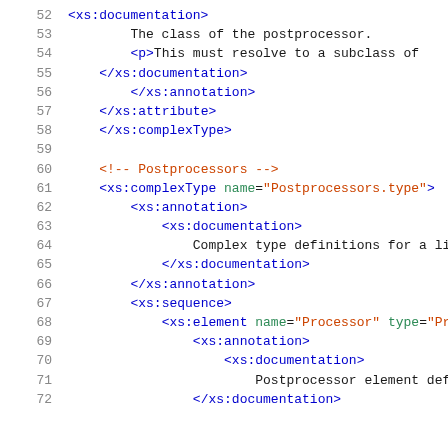Code listing lines 52-72 showing XML schema definitions for postprocessor types
52    <xs:documentation>
53        The class of the postprocessor.
54        <p>This must resolve to a subclass of
55    </xs:documentation>
56    </xs:annotation>
57    </xs:attribute>
58    </xs:complexType>
59
60    <!-- Postprocessors -->
61    <xs:complexType name="Postprocessors.type">
62      <xs:annotation>
63        <xs:documentation>
64            Complex type definitions for a list of p
65        </xs:documentation>
66      </xs:annotation>
67      <xs:sequence>
68        <xs:element name="Processor" type="Process
69          <xs:annotation>
70            <xs:documentation>
71                Postprocessor element definition.
72            </xs:documentation>